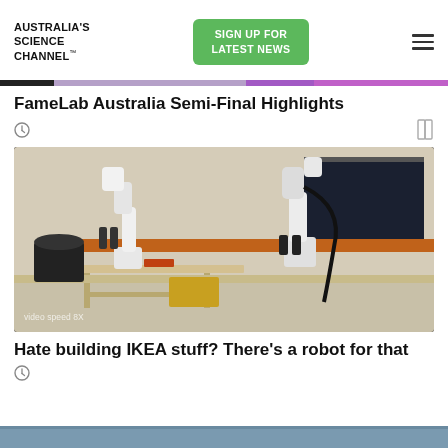AUSTRALIA'S SCIENCE CHANNEL™
SIGN UP FOR LATEST NEWS
FameLab Australia Semi-Final Highlights
[Figure (photo): Two white robotic arms assembling an IKEA chair on a table in a laboratory setting. Text overlay reads 'video speed 8X'.]
Hate building IKEA stuff? There's a robot for that
[Figure (photo): Partially visible image at the bottom of the page.]